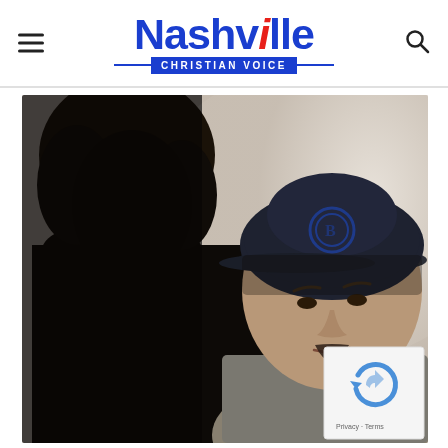Nashville Christian Voice
[Figure (photo): Two people in conversation: a dark-haired person in silhouette on the left, and a man wearing a dark baseball cap with a circular logo on the right, leaning forward in discussion, wearing a grey t-shirt]